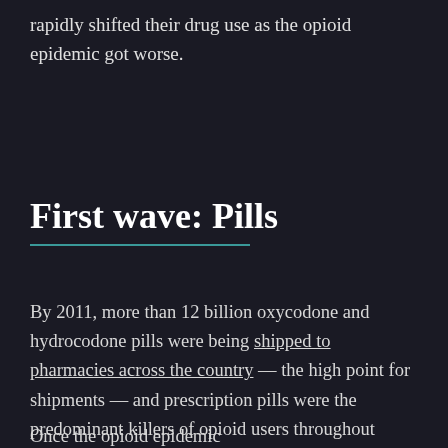rapidly shifted their drug use as the opioid epidemic got worse.
First wave: Pills
By 2011, more than 12 billion oxycodone and hydrocodone pills were being shipped to pharmacies across the country — the high point for shipments — and prescription pills were the predominant killers of opioid users throughout much of the nation.
Once the opioid epidemic got worse...